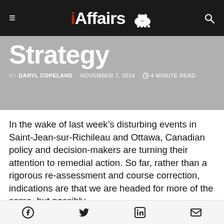iAffairs
Strategy
BY  DARYL COPELAND · NOVEMBER 7, 2014 · 4 MINUTE READ
In the wake of last week’s disturbing events in Saint-Jean-sur-Richileau and Ottawa, Canadian policy and decision-makers are turning their attention to remedial action. So far, rather than a rigorous re-assessment and course correction, indications are that we are headed for more of the same, but possibly